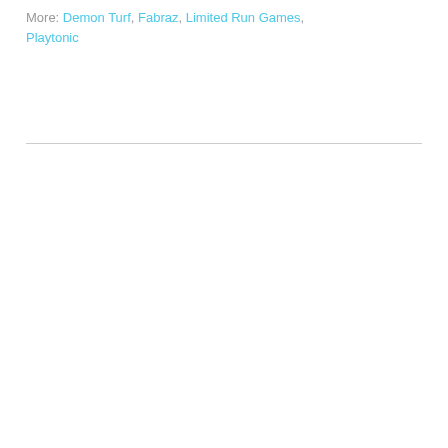More: Demon Turf, Fabraz, Limited Run Games, Playtonic